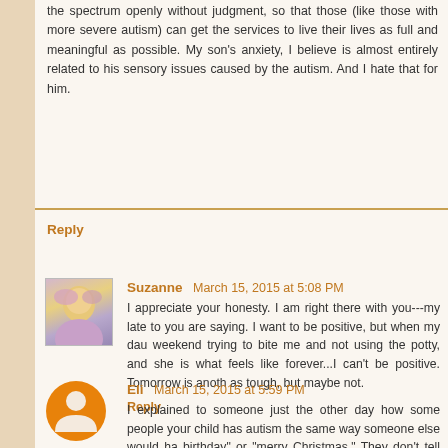the spectrum openly without judgment, so that those (like those with more severe autism) can get the services to live their lives as full and meaningful as possible. My son's anxiety, I believe is almost entirely related to his sensory issues caused by the autism. And I hate that for him.
Reply
Suzanne  March 15, 2015 at 5:08 PM
I appreciate your honesty. I am right there with you---my late to you are saying. I want to be positive, but when my dau weekend trying to bite me and not using the potty, and she is what feels like forever...I can't be positive. Tomorrow is anoth as tough, but maybe not.
Reply
Eli  March 15, 2015 at 5:59 PM
I explained to someone just the other day how some people your child has autism the same way someone else would ha birthday" or "merry Christmas." They don't tell you what to do